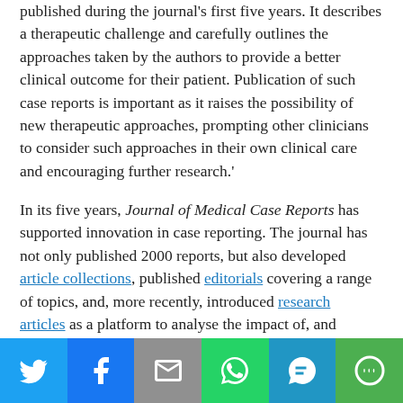published during the journal's first five years. It describes a therapeutic challenge and carefully outlines the approaches taken by the authors to provide a better clinical outcome for their patient. Publication of such case reports is important as it raises the possibility of new therapeutic approaches, prompting other clinicians to consider such approaches in their own clinical care and encouraging further research.'
In its five years, Journal of Medical Case Reports has supported innovation in case reporting. The journal has not only published 2000 reports, but also developed article collections, published editorials covering a range of topics, and, more recently, introduced research articles as a platform to analyse the impact of, and improve